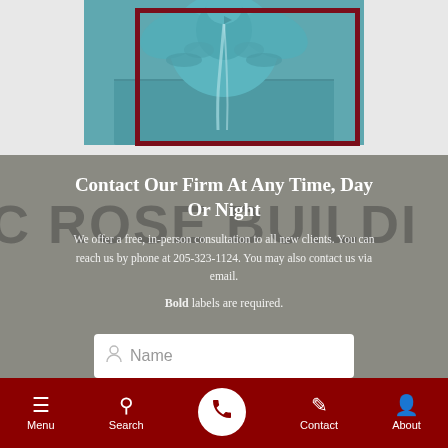[Figure (photo): Teal/blue fountain sculpture mounted on a wall, with a dark red rectangular border overlay. Background is light gray.]
Contact Our Firm At Any Time, Day Or Night
We offer a free, in-person consultation to all new clients. You can reach us by phone at 205-323-1124. You may also contact us via email.
Bold labels are required.
Menu  Search  Contact  About